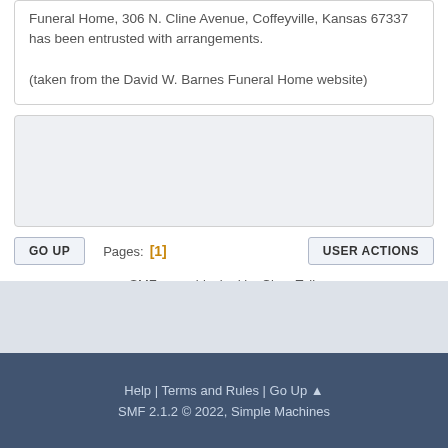Funeral Home, 306 N. Cline Avenue, Coffeyville, Kansas 67337 has been entrusted with arrangements.

(taken from the David W. Barnes Funeral Home website)
[Figure (other): Advertisement placeholder box with light grey background]
GO UP   Pages: [1]   USER ACTIONS
SMF spam blocked by CleanTalk
Help | Terms and Rules | Go Up ▲
SMF 2.1.2 © 2022, Simple Machines